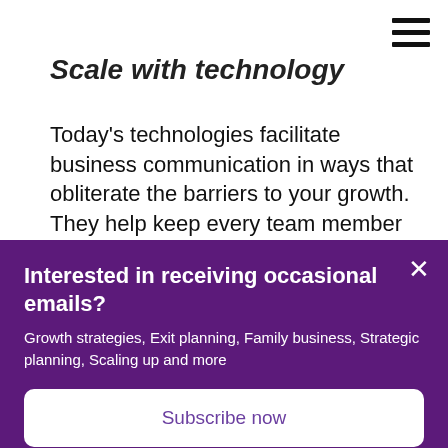≡
Scale with technology
Today's technologies facilitate business communication in ways that obliterate the barriers to your growth. They help keep every team member accountable, improve productivity, and free up more of your leadership time — which is one of the most common bottlenecks preventing business
Interested in receiving occasional emails?
Growth strategies, Exit planning, Family business, Strategic planning, Scaling up and more
Subscribe now